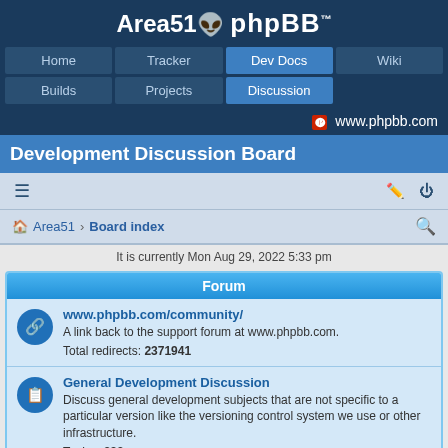Area51 phpBB™
[Figure (screenshot): phpBB Area51 forum navigation bar with links: Home, Tracker, Dev Docs (active), Wiki, Builds, Projects, Discussion (active)]
www.phpbb.com
Development Discussion Board
[Figure (screenshot): Forum toolbar with hamburger menu icon and edit/power icons on right]
Area51 › Board index
It is currently Mon Aug 29, 2022 5:33 pm
Forum
www.phpbb.com/community/
A link back to the support forum at www.phpbb.com.
Total redirects: 2371941
General Development Discussion
Discuss general development subjects that are not specific to a particular version like the versioning control system we use or other infrastructure.
Topics: 393
phpBB 4.x Development